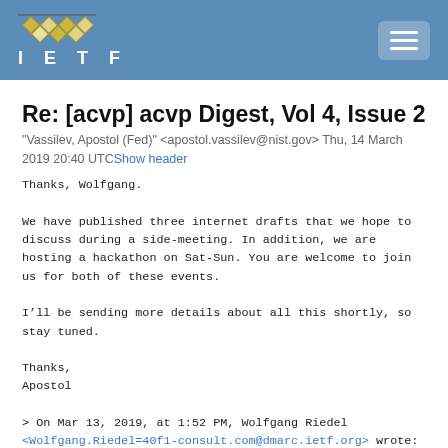IETF
Re: [acvp] acvp Digest, Vol 4, Issue 2
"Vassilev, Apostol (Fed)" <apostol.vassilev@nist.gov> Thu, 14 March 2019 20:40 UTCShow header
Thanks, Wolfgang.

We have published three internet drafts that we hope to discuss during a side-meeting. In addition, we are hosting a hackathon on Sat-Sun. You are welcome to join us for both of these events.

I’ll be sending more details about all this shortly, so stay tuned.

Thanks,
Apostol

> On Mar 13, 2019, at 1:52 PM, Wolfgang Riedel
<Wolfgang.Riedel=40f1-consult.com@dmarc.ietf.org> wrote:
>
> Hi Folks,
>